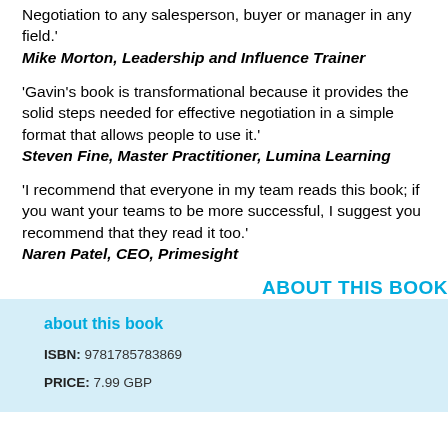Negotiation to any salesperson, buyer or manager in any field.'
Mike Morton, Leadership and Influence Trainer
'Gavin's book is transformational because it provides the solid steps needed for effective negotiation in a simple format that allows people to use it.'
Steven Fine, Master Practitioner, Lumina Learning
'I recommend that everyone in my team reads this book; if you want your teams to be more successful, I suggest you recommend that they read it too.'
Naren Patel, CEO, Primesight
ABOUT THIS BOOK
about this book
ISBN: 9781785783869
PRICE: 7.99 GBP